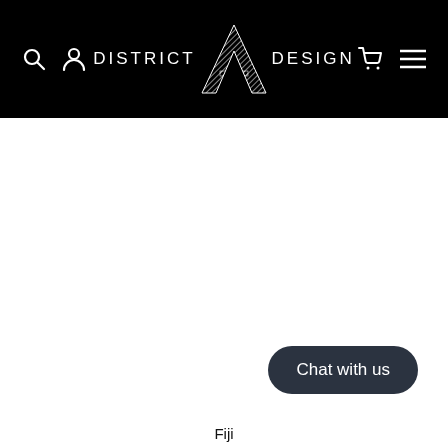[Figure (logo): District A Design logo on black navigation header with search, account, cart, and menu icons]
[Figure (other): Chat with us button, dark rounded pill shape]
Fiji